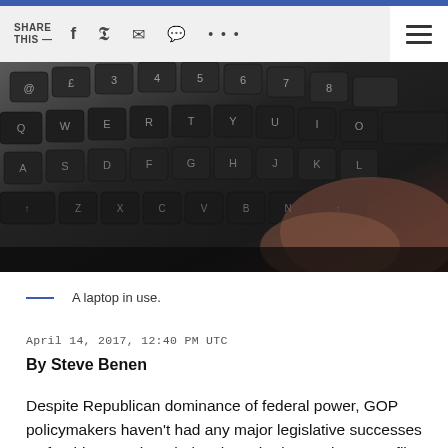SHARE THIS — f  twitter  mail  message  ...
[Figure (photo): Close-up photo of a laptop keyboard with a hand partially visible, dark tones]
A laptop in use.
April 14, 2017, 12:40 PM UTC
By Steve Benen
Despite Republican dominance of federal power, GOP policymakers haven't had any major legislative successes so far this year, though they have had some lower-profile victories. Take online privacy, for example.As